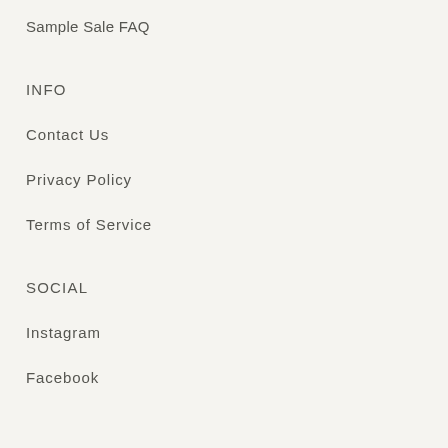Sample Sale FAQ
INFO
Contact Us
Privacy Policy
Terms of Service
SOCIAL
Instagram
Facebook